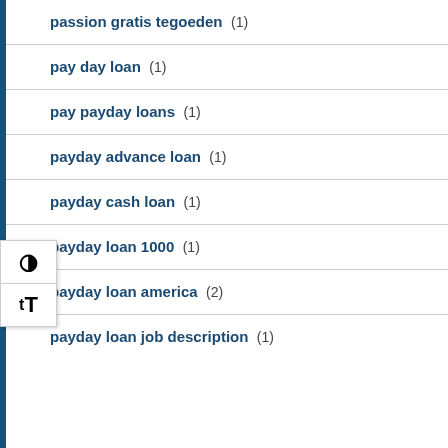passion gratis tegoeden (1)
pay day loan (1)
pay payday loans (1)
payday advance loan (1)
payday cash loan (1)
payday loan 1000 (1)
payday loan america (2)
payday loan job description (1)